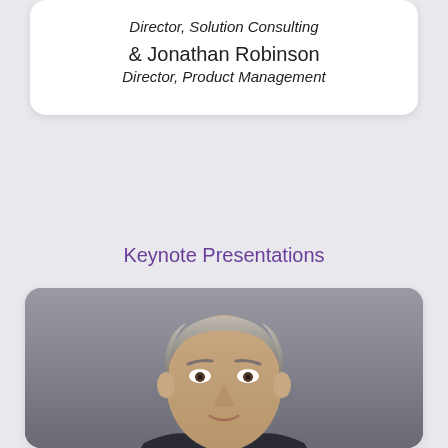Director, Solution Consulting
& Jonathan Robinson
Director, Product Management
Keynote Presentations
[Figure (photo): Professional headshot of a middle-aged man with grey hair, wearing a suit, against a grey background]